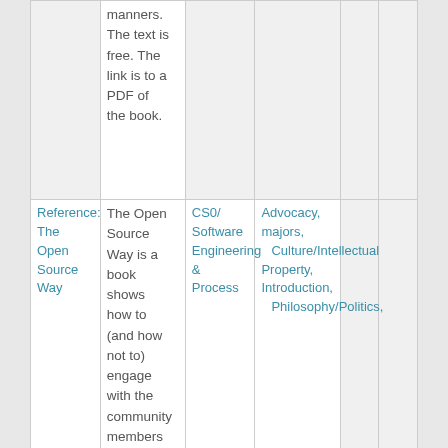|  | manners. The text is free. The link is to a PDF of the book. |  |  |  |  |
| Reference: The Open Source Way | The Open Source Way is a book shows how to (and how not to) engage with the community members on... | CS0/Software Engineering & Process | Advocacy, majors, Culture/Intellectual Property, Introduction, Philosophy/Politics, |  |  |